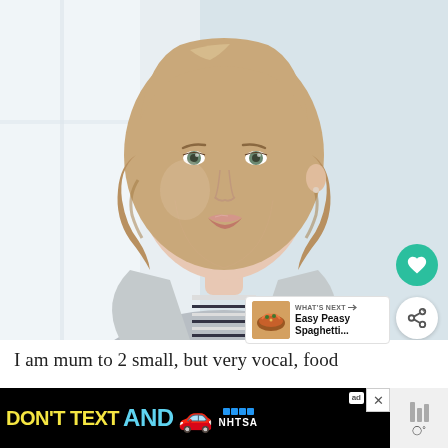[Figure (photo): Portrait photo of a young woman with wavy blonde-brown hair, wearing a gray blazer over a striped top, photographed against a bright window background]
[Figure (infographic): What's Next panel showing food thumbnail and text 'Easy Peasy Spaghetti...' with arrow]
I am mum to 2 small, but very vocal, food
[Figure (infographic): Advertisement banner: DON'T TEXT AND [car emoji] with NHTSA logo and ad badge]